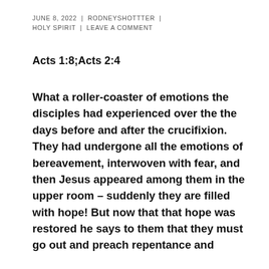JUNE 8, 2022 | RODNEYSHOTTTER | HOLY SPIRIT | LEAVE A COMMENT
Acts 1:8;Acts 2:4
What a roller-coaster of emotions the disciples had experienced over the the days before and after the crucifixion. They had undergone all the emotions of bereavement, interwoven with fear, and then Jesus appeared among them in the upper room – suddenly they are filled with hope! But now that that hope was restored he says to them that they must go out and preach repentance and